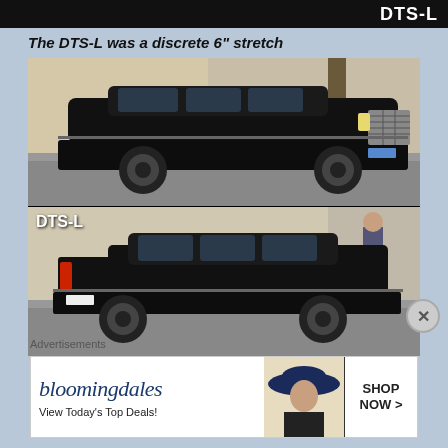DTS-L
The DTS-L was a discrete 6" stretch
[Figure (photo): Two photos of a black Cadillac DTS-L stretched sedan shown from the side on a city street. Top photo shows front-three-quarter view from right side, bottom photo labeled 'DTS-L' shows rear-three-quarter view from left side.]
Advertisements
[Figure (photo): Bloomingdale's advertisement banner showing logo, 'View Today's Top Deals!' text, woman with large hat, and 'SHOP NOW >' button]